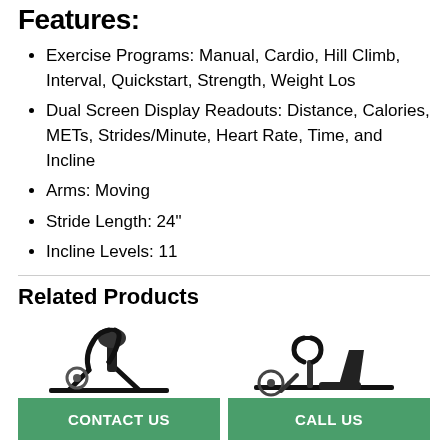Features:
Exercise Programs: Manual, Cardio, Hill Climb, Interval, Quickstart, Strength, Weight Los
Dual Screen Display Readouts: Distance, Calories, METs, Strides/Minute, Heart Rate, Time, and Incline
Arms: Moving
Stride Length: 24"
Incline Levels: 11
Related Products
[Figure (photo): Fitness exercise machine / elliptical trainer, black, side view]
[Figure (photo): Fitness exercise machine / recumbent bike or similar, black, side view]